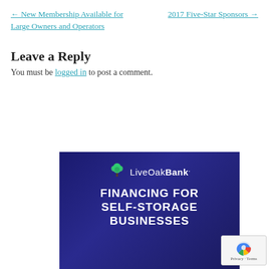← New Membership Available for Large Owners and Operators
2017 Five-Star Sponsors →
Leave a Reply
You must be logged in to post a comment.
[Figure (advertisement): LiveOak Bank advertisement with dark blue background showing tree logo and text: FINANCING FOR SELF-STORAGE BUSINESSES]